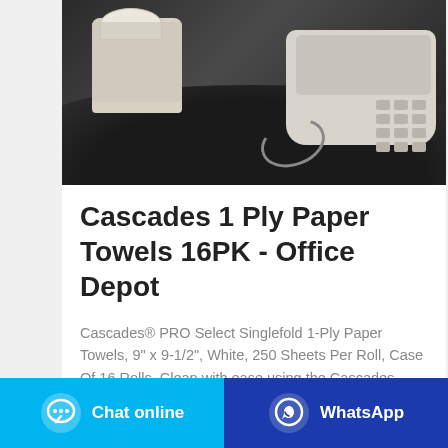[Figure (photo): Product photo showing a tissue box with decorative pattern and a white desk telephone on a dark tray, dark background]
Cascades 1 Ply Paper Towels 16PK - Office Depot
Cascades® PRO Select Singlefold 1-Ply Paper Towels, 9" x 9-1/2", White, 250 Sheets Per Roll, Case Of 16 Rolls. Clean with ease using the Cascades PRO Select Singlefold 1-Ply Paper
[Figure (screenshot): Two action buttons at the bottom: 'Chat online' on light blue background and 'WhatsApp' on dark blue background, each with respective icons]